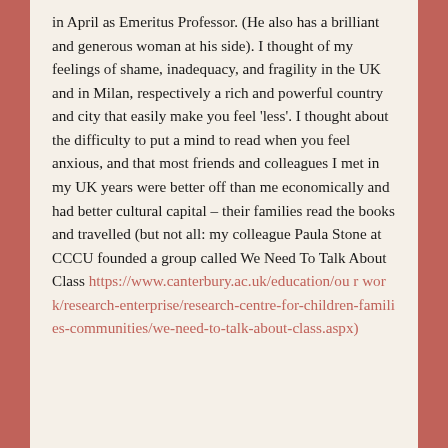in April as Emeritus Professor. (He also has a brilliant and generous woman at his side). I thought of my feelings of shame, inadequacy, and fragility in the UK and in Milan, respectively a rich and powerful country and city that easily make you feel 'less'. I thought about the difficulty to put a mind to read when you feel anxious, and that most friends and colleagues I met in my UK years were better off than me economically and had better cultural capital – their families read the books and travelled (but not all: my colleague Paula Stone at CCCU founded a group called We Need To Talk About Class https://www.canterbury.ac.uk/education/our-work/research-enterprise/research-centre-for-children-families-communities/we-need-to-talk-about-class.aspx)